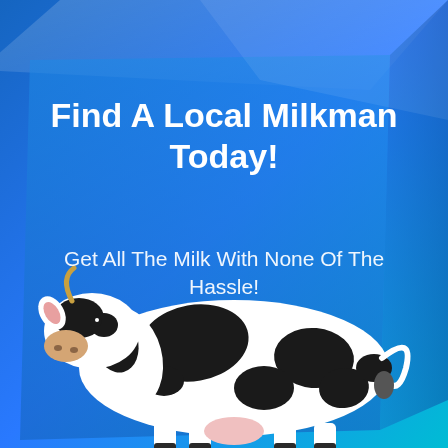[Figure (illustration): Advertising infographic with a blue 3D cube/box background shape. A black and white Holstein dairy cow stands in the lower portion of the image against the blue gradient background. White text overlaid on the blue box reads 'Find A Local Milkman Today!' and 'Get All The Milk With None Of The Hassle!']
Find A Local Milkman Today!
Get All The Milk With None Of The Hassle!